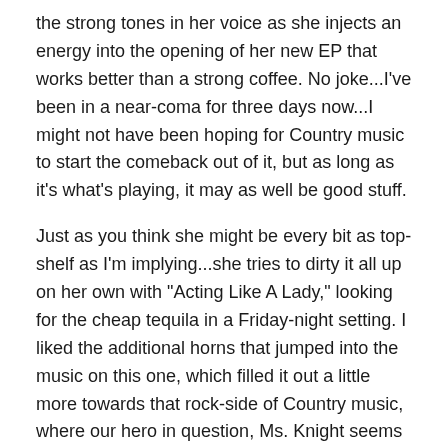the strong tones in her voice as she injects an energy into the opening of her new EP that works better than a strong coffee.  No joke...I've been in a near-coma for three days now...I might not have been hoping for Country music to start the comeback out of it, but as long as it's what's playing, it may as well be good stuff.
Just as you think she might be every bit as top-shelf as I'm implying...she tries to dirty it all up on her own with "Acting Like A Lady," looking for the cheap tequila in a Friday-night setting.  I liked the additional horns that jumped into the music on this one, which filled it out a little more towards that rock-side of Country music, where our hero in question, Ms. Knight seems at her most comfortable.  "Acting Like A Lady" is a little more typical in its presentation, style and sound than any other on the record really...it borrows a lot from the party-atmosphere of the genre and so will "Party In My Dream" as the EP heads towards the middle.  It's party Country-music for sure through and through...I suspect you'll just